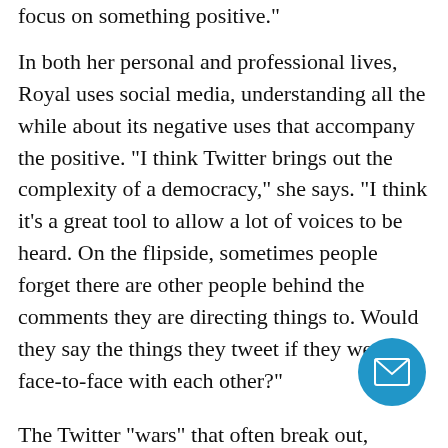focus on something positive."
In both her personal and professional lives, Royal uses social media, understanding all the while about its negative uses that accompany the positive. "I think Twitter brings out the complexity of a democracy," she says. "I think it's a great tool to allow a lot of voices to be heard. On the flipside, sometimes people forget there are other people behind the comments they are directing things to. Would they say the things they tweet if they were face-to-face with each other?"
The Twitter "wars" that often break out, whether among politicians, entertainers or others, are a reminder, adds Royal, of some of the fundamental things taught in education – civility, respect, how to communicate face-to-face.
"It's all the basis of our society, and (social media) can